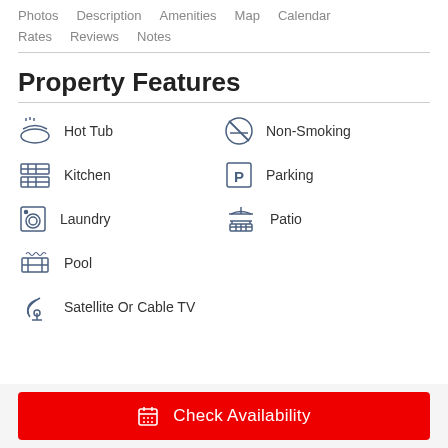Photos  Description  Amenities  Map  Calendar  Rates  Reviews  Notes
Property Features
Hot Tub
Non-Smoking
Kitchen
Parking
Laundry
Patio
Pool
Satellite Or Cable TV
Check Availability